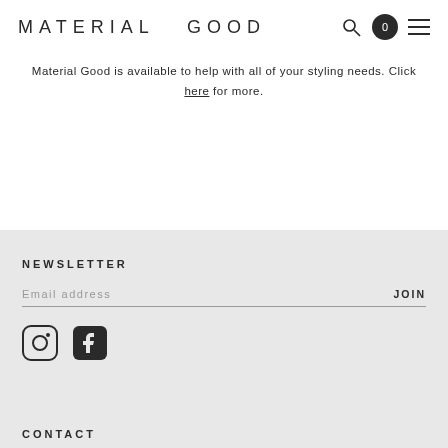MATERIAL GOOD
Material Good is available to help with all of your styling needs. Click here for more.
NEWSLETTER
Email address
JOIN
[Figure (illustration): Instagram icon]
[Figure (illustration): Facebook icon]
CONTACT